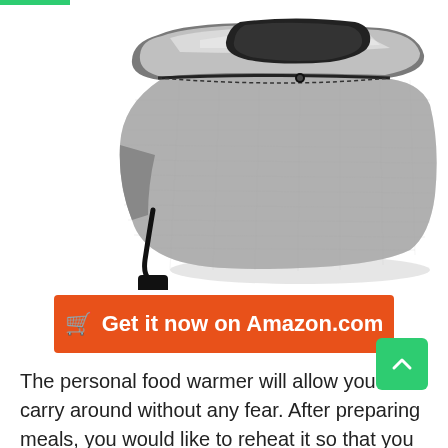[Figure (photo): A gray fabric personal food warmer/lunch bag with a zipper and a black power plug cord hanging from it, shown open revealing a foil interior, with a soft shadow below.]
🛒 Get it now on Amazon.com
The personal food warmer will allow you to carry around without any fear. After preparing meals, you would like to reheat it so that you can continue warming meals. The food warmer comes in high-quality design, making it very reliable in